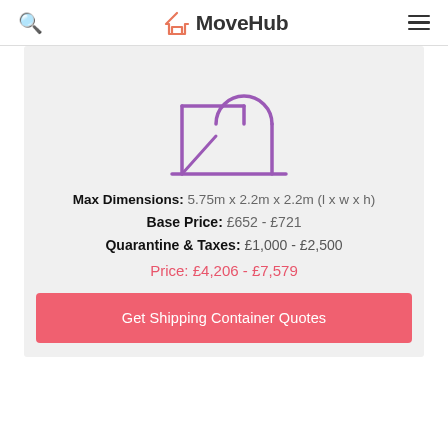MoveHub
[Figure (illustration): Purple line icon of a shipping container silhouette/outline]
Max Dimensions: 5.75m x 2.2m x 2.2m (l x w x h)
Base Price: £652 - £721
Quarantine & Taxes: £1,000 - £2,500
Price: £4,206 - £7,579
Get Shipping Container Quotes